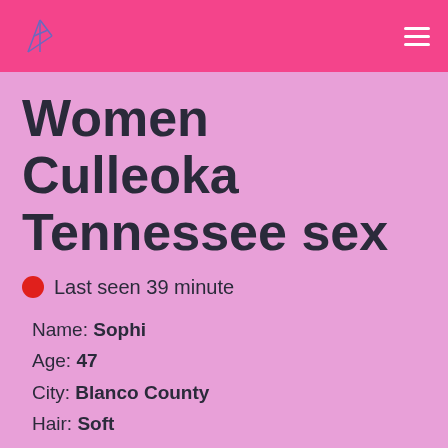Women Culleoka Tennessee sex
Last seen 39 minute
Name: Sophi
Age: 47
City: Blanco County
Hair: Soft
Relation Type: Sexy Horny Wanting Horney Grannies
Seeking: Seeking For A Man